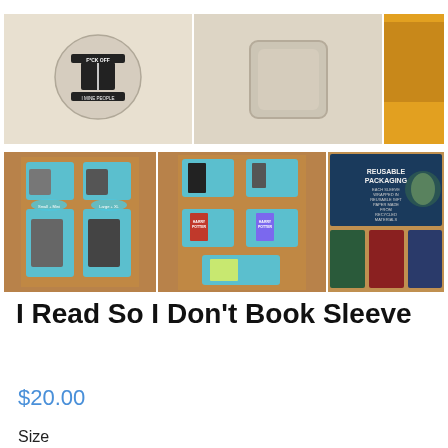[Figure (photo): Three product photos in a row: a beige pillow with 'F*CK OFF I MINE PEOPLE' text and book graphic, a plain beige pillow back, and a partially visible product image on the right.]
[Figure (photo): Three product photos in a row: a flat-lay of teal neoprene book sleeves in various sizes with size labels, a second flat-lay showing the same teal book sleeves with Harry Potter books for scale, and a reusable packaging image showing navy and floral patterned book sleeves.]
I Read So I Don't Book Sleeve
$20.00
Size